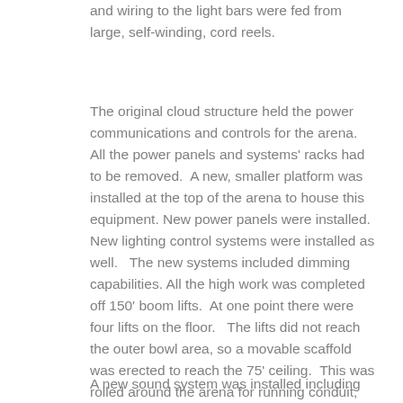and wiring to the light bars were fed from large, self-winding, cord reels.
The original cloud structure held the power communications and controls for the arena.   All the power panels and systems' racks had to be removed.  A new, smaller platform was installed at the top of the arena to house this equipment. New power panels were installed.  New lighting control systems were installed as well.   The new systems included dimming capabilities. All the high work was completed off 150' boom lifts.  At one point there were four lifts on the floor.   The lifts did not reach the outer bowl area, so a movable scaffold was erected to reach the 75' ceiling.  This was rolled around the arena for running conduit, pulling wire and installing the fixtures.
A new sound system was installed including new